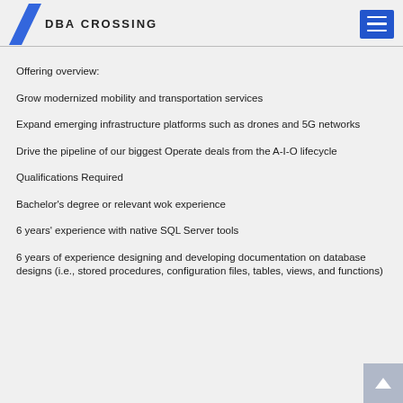DBA CROSSING
Offering overview:
Grow modernized mobility and transportation services
Expand emerging infrastructure platforms such as drones and 5G networks
Drive the pipeline of our biggest Operate deals from the A-I-O lifecycle
Qualifications Required
Bachelor's degree or relevant wok experience
6 years' experience with native SQL Server tools
6 years of experience designing and developing documentation on database designs (i.e., stored procedures, configuration files, tables, views, and functions)